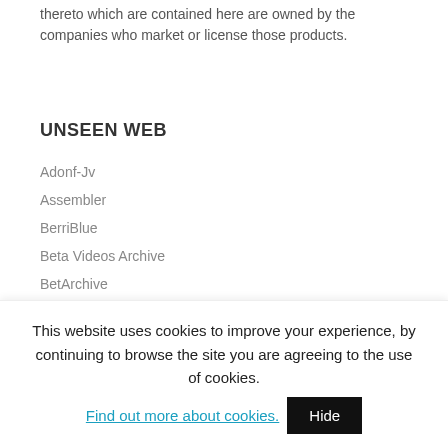thereto which are contained here are owned by the companies who market or license those products.
UNSEEN WEB
Adonf-Jv
Assembler
BerriBlue
Beta Videos Archive
BetArchive
Did You Know Gaming
Elude Visibility
Games That Weren't
GamesCollection
GDRI
This website uses cookies to improve your experience, by continuing to browse the site you are agreeing to the use of cookies. Find out more about cookies. Hide